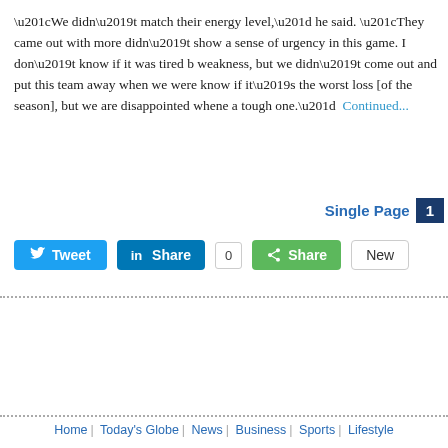“We didn’t match their energy level,” he said. “They came out with more didn’t show a sense of urgency in this game. I don’t know if it was tired b weakness, but we didn’t come out and put this team away when we were know if it’s the worst loss [of the season], but we are disappointed whene a tough one.” Continued...
Single Page  1
[Figure (other): Social sharing buttons: Tweet (Twitter/blue), Share (LinkedIn/blue) with count 0, Share (green share button), New button]
Home | Today’s Globe | News | Business | Sports | Lifestyle